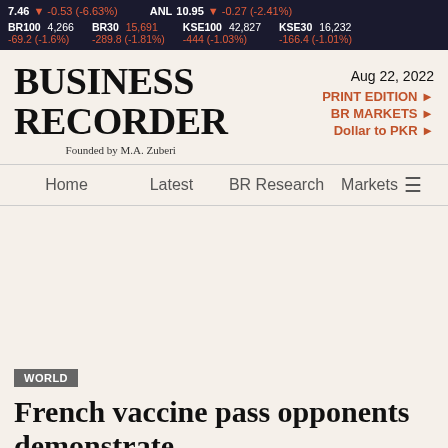7.46 ▼ -0.53 (-6.63%)   ANL 10.95 ▼ -0.27 (-2.41%)   BR100 4,266 -69.2 (-1.6%)   BR30 15,691 -289.8 (-1.81%)   KSE100 42,827 -444 (-1.03%)   KSE30 16,232 -166.4 (-1.01%)
BUSINESS RECORDER
Founded by M.A. Zuberi
Aug 22, 2022
PRINT EDITION ►
BR MARKETS ►
Dollar to PKR ►
Home   Latest   BR Research   Markets
WORLD
French vaccine pass opponents demonstrate